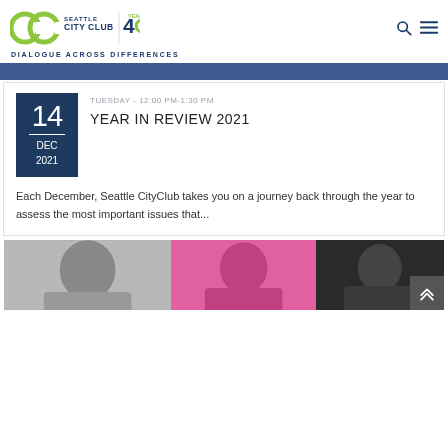[Figure (logo): Seattle CityClub logo with 40 Years badge]
DIALOGUE ACROSS DIFFERENCES
[Figure (screenshot): Blue navigation bar strip]
TUESDAY - 12:00 PM-1:30 PM
YEAR IN REVIEW 2021
Each December, Seattle CityClub takes you on a journey back through the year to assess the most important issues that...
[Figure (photo): Three cropped portrait photos side by side at the bottom of the page]